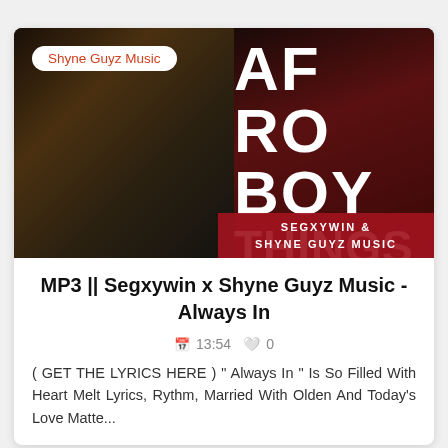[Figure (photo): Album art for 'Afro Boy Things' by Segxywin and Shyne Guyz Music. A young man in a yellow hoodie sits against a brick wall. Large white text reads 'AFRO BOY THINGS'. A red banner at the bottom shows 'SEGXYWIN & SHYNE GUYZ MUSIC'. A white rounded badge in the top left reads 'Shyne Guyz Music'.]
MP3 || Segxywin x Shyne Guyz Music - Always In
🗓 13:54  🤍 0
( GET THE LYRICS HERE )  " Always In " Is So Filled With Heart Melt Lyrics, Rythm, Married With Olden And Today's Love Matte...